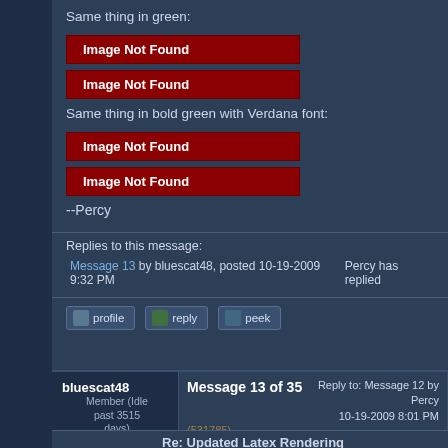Same thing in green:
[Figure (other): Image Not Found placeholder button (red background)]
[Figure (other): Image Not Found placeholder button (red background)]
Same thing in bold green with Verdana font:
[Figure (other): Image Not Found placeholder button (red background)]
[Figure (other): Image Not Found placeholder button (red background)]
--Percy
Replies to this message:
Message 13 by bluescat48, posted 10-19-2009 9:32 PM
Percy has replied
bluescat48 Member (Idle past 3515 days)
Message 13 of 35 (531785) 10-19-2009 9:32 PM Reply to: Message 12 by Percy 10-19-2009 8:01 PM
Re: Updated Latex Rendering